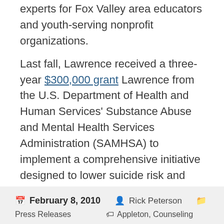experts for Fox Valley area educators and youth-serving nonprofit organizations.
Last fall, Lawrence received a three-year $300,000 grant Lawrence from the U.S. Department of Health and Human Services' Substance Abuse and Mental Health Services Administration (SAMHSA) to implement a comprehensive initiative designed to lower suicide risk and enhance protective factors among Lawrence students.
Read excerpts from the interview here.
February 8, 2010  Rick Peterson  Press Releases  Appleton, Counseling